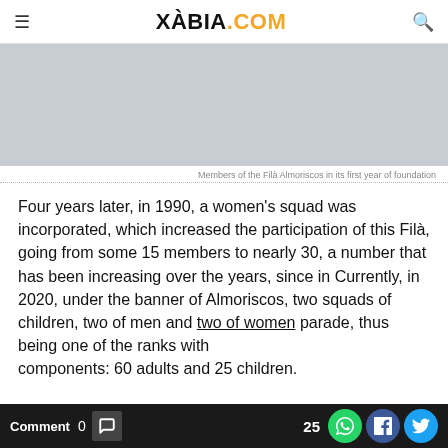XÀBIA.COM
[Figure (photo): Gray placeholder image area representing members of the Filà Almoriscos]
Members of the Filà Almoriscos in its first year of foundation
Four years later, in 1990, a women's squad was incorporated, which increased the participation of this Filà, going from some 15 members to nearly 30, a number that has been increasing over the years, since in Currently, in 2020, under the banner of Almoriscos, two squads of children, two of men and two of women parade, thus being one of the ranks with components: 60 adults and 25 children.
Comment 0  25